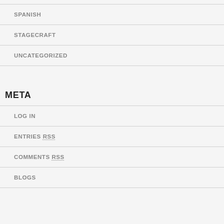SPANISH
STAGECRAFT
UNCATEGORIZED
META
LOG IN
ENTRIES RSS
COMMENTS RSS
BLOGS